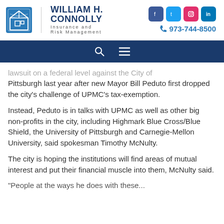[Figure (logo): William H. Connolly Insurance and Risk Management logo with building icon, social media icons (Facebook, Twitter, Instagram, LinkedIn), and phone number 973-744-8500]
...lawsuit on a federal level against the City of Pittsburgh last year after new Mayor Bill Peduto first dropped the city's challenge of UPMC's tax-exemption.
Instead, Peduto is in talks with UPMC as well as other big non-profits in the city, including Highmark Blue Cross/Blue Shield, the University of Pittsburgh and Carnegie-Mellon University, said spokesman Timothy McNulty.
The city is hoping the institutions will find areas of mutual interest and put their financial muscle into them, McNulty said.
"People at the ways he does with these...